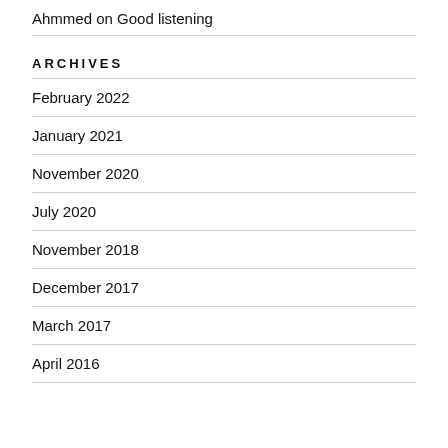Ahmmed on Good listening
ARCHIVES
February 2022
January 2021
November 2020
July 2020
November 2018
December 2017
March 2017
April 2016